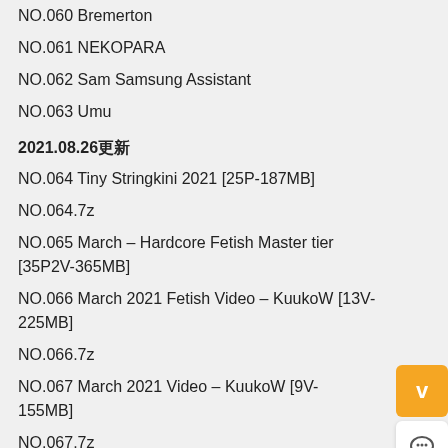NO.060 Bremerton
NO.061 NEKOPARA
NO.062 Sam Samsung Assistant
NO.063 Umu
2021.08.26更新
NO.064 Tiny Stringkini 2021 [25P-187MB]
NO.064.7z
NO.065 March – Hardcore Fetish Master tier [35P2V-365MB]
NO.066 March 2021 Fetish Video – KuukoW [13V-225MB]
NO.066.7z
NO.067 March 2021 Video – KuukoW [9V-155MB]
NO.067.7z
NO.068 Samsung Sam [22P-33MB]
NO.068.7z
NO.069 Pure Selfie Rosaria 2021 [18P-71MB]
NO.069.7z
NO.070 Mona [39P6V-562MB]